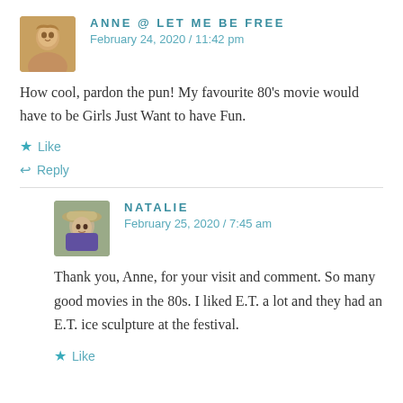ANNE @ LET ME BE FREE
February 24, 2020 / 11:42 pm
How cool, pardon the pun! My favourite 80's movie would have to be Girls Just Want to have Fun.
Like
Reply
NATALIE
February 25, 2020 / 7:45 am
Thank you, Anne, for your visit and comment. So many good movies in the 80s. I liked E.T. a lot and they had an E.T. ice sculpture at the festival.
Like